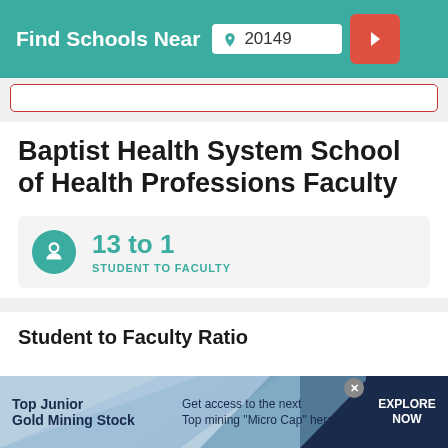Find Schools Near 20149
Baptist Health System School of Health Professions Faculty
13 to 1
STUDENT TO FACULTY
Student to Faculty Ratio
[Figure (infographic): Advertisement banner: Top Junior Gold Mining Stock – Get access to the next Top mining "Micro Cap" here! EXPLORE NOW]